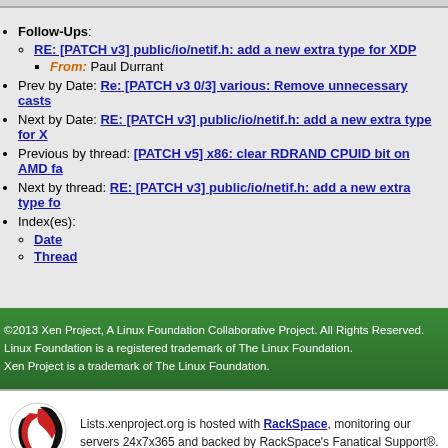Follow-Ups:
RE: [PATCH v3] public/io/netif.h: add a new extra type for XDP
From: Paul Durrant
Prev by Date: Re: [PATCH v3 0/3] various: Remove unnecessary casts
Next by Date: RE: [PATCH v3] public/io/netif.h: add a new extra type for X
Previous by thread: [PATCH v5] x86: clear RDRAND CPUID bit on AMD fa
Next by thread: RE: [PATCH v3] public/io/netif.h: add a new extra type fo
Index(es):
Date
Thread
©2013 Xen Project, A Linux Foundation Collaborative Project. All Rights Reserved. Linux Foundation is a registered trademark of The Linux Foundation. Xen Project is a trademark of The Linux Foundation.
Lists.xenproject.org is hosted with RackSpace, monitoring our servers 24x7x365 and backed by RackSpace's Fanatical Support®.